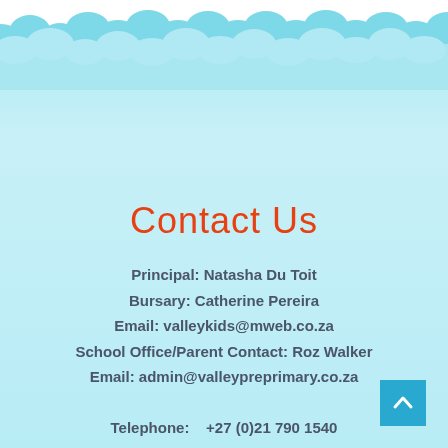[Figure (illustration): Decorative cloud/wave border strip at the top of the page with light blue and white scalloped cloud shapes against a white background, transitioning to a light blue gradient background.]
Contact Us
Principal: Natasha Du Toit
Bursary: Catherine Pereira
Email: valleykids@mweb.co.za
School Office/Parent Contact: Roz Walker
Email: admin@valleypreprimary.co.za
Telephone: +27 (0)21 790 1540